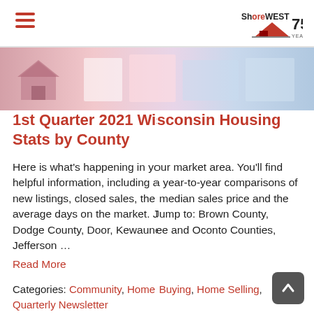ShoreWest 75 Years
[Figure (photo): Hero banner image showing houses and real estate imagery with pink/blue tones]
1st Quarter 2021 Wisconsin Housing Stats by County
Here is what’s happening in your market area. You’ll find helpful information, including a year-to-year comparisons of new listings, closed sales, the median sales price and the average days on the market. Jump to: Brown County, Dodge County, Door, Kewaunee and Oconto Counties,  Jefferson … Read More
Categories: Community, Home Buying, Home Selling, Quarterly Newsletter